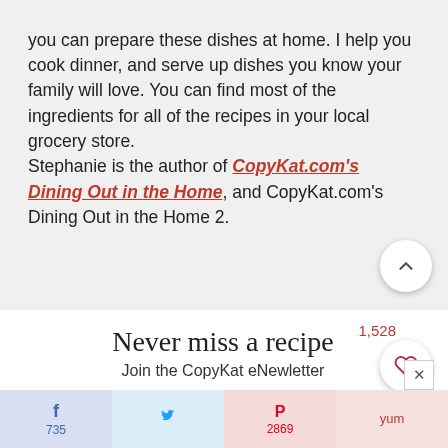you can prepare these dishes at home. I help you cook dinner, and serve up dishes you know your family will love. You can find most of the ingredients for all of the recipes in your local grocery store. Stephanie is the author of CopyKat.com's Dining Out in the Home, and CopyKat.com's Dining Out in the Home 2.
1,528
Never miss a recipe
Join the CopyKat eNewletter
First Nar
Last Nam
735
2869